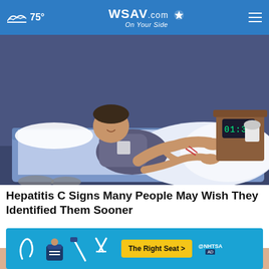75° WSAV.com On Your Side
[Figure (illustration): Cartoon illustration of a man sitting on a bed at night, scratching his leg, with a clock showing 01:37 on the nightstand.]
Hepatitis C Signs Many People May Wish They Identified Them Sooner
Hep C | Sponsored Links
[Figure (infographic): NHTSA advertisement banner with blue background, car seat safety icons, and a yellow 'The Right Seat >' call-to-action button.]